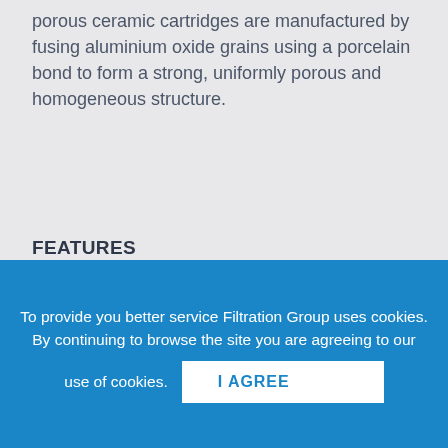porous ceramic cartridges are manufactured by fusing aluminium oxide grains using a porcelain bond to form a strong, uniformly porous and homogeneous structure.
FEATURES
Temperature resistant to 800 °C (can be limited by the use of gasket or sealing material)
High corrosion resistant
Robust mechanical characteristics
Abrasive resistent
Absolute filtration rating
Easy cleanable
To provide you better service Filtration Group uses cookies. By continuing to browse the site you are agreeing to our use of cookies.
I AGREE